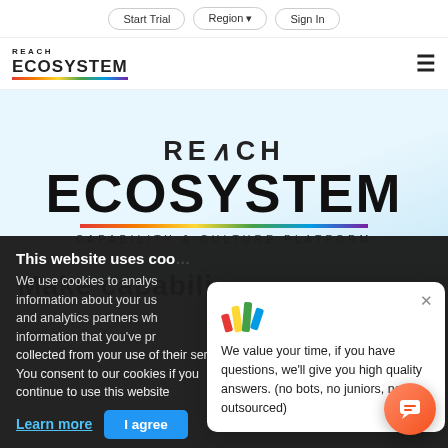Start Trial  Region  Sign In
[Figure (logo): Reach Ecosystem logo - small version in header bar with hamburger menu]
[Figure (logo): REACH ECOSYSTEM large hero logo with rainbow underline and CAPABILITY & CULTURE PLATFORM subtitle]
Make capabili...
This website uses coo...
We use cookies to analys... information about your us... and analytics partners wh... information that you've pr... collected from your use of their services. You consent to our cookies if you continue to use this website
Learn more
I agree
[Figure (infographic): Chat popup with colorful logo icon and text: We value your time, if you have questions, we'll give you high quality answers. (no bots, no juniors, not outsourced)]
[Figure (other): Orange circular chat button with speech bubble icon]